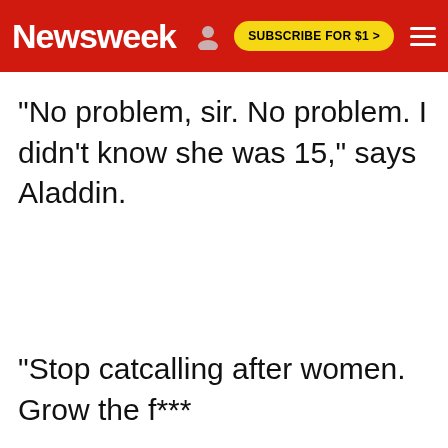Newsweek | SUBSCRIBE FOR $1 >
"No problem, sir. No problem. I didn't know she was 15," says Aladdin.
"Stop catcalling after women. Grow the f***